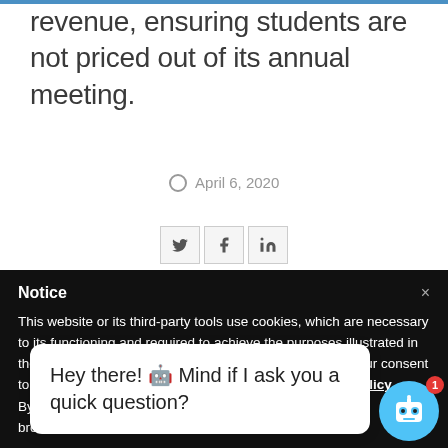revenue, ensuring students are not priced out of its annual meeting.
April 6, 2020
[Figure (other): Social sharing icons: Twitter, Facebook, LinkedIn]
Notice
This website or its third-party tools use cookies, which are necessary to its functioning and required to achieve the purposes illustrated in the cookie policy. If you want to know more or withdraw your consent to all or some of the cookies, please refer to the cookie policy.
By closing t[X]b... or continuing to bro... co...
Hey there! 🤖 Mind if I ask you a quick question?